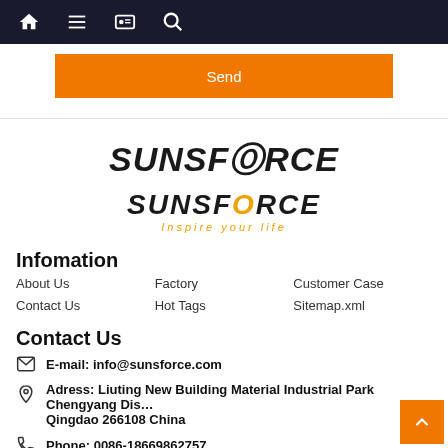Navigation bar with home, menu, card, search icons
Send
[Figure (logo): SUNSFORCE logo with tagline 'Inspire your life' in orange italic text]
Infomation
About Us
Factory
Customer Case
Contact Us
Hot Tags
Sitemap.xml
Contact Us
E-mail: info@sunsforce.com
Adress: Liuting New Building Material Industrial Park Chengyang District Qingdao 266108 China
Phone: 0086-18669862757